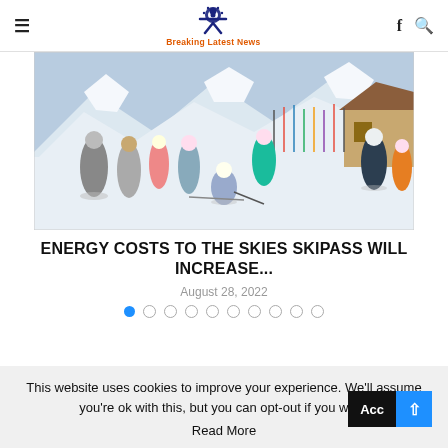Breaking Latest News
[Figure (photo): Crowded ski slope with many skiers and snowboarders at a mountain resort on a sunny day. Racks of skis visible in the background, snow-covered peaks and a chalet building.]
ENERGY COSTS TO THE SKIES SKIPASS WILL INCREASE...
August 28, 2022
This website uses cookies to improve your experience. We'll assume you're ok with this, but you can opt-out if you wish. Read More